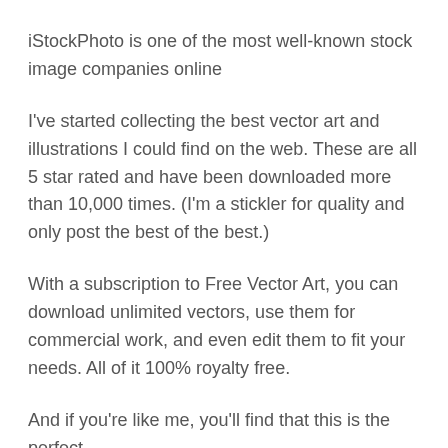iStockPhoto is one of the most well-known stock image companies online
I've started collecting the best vector art and illustrations I could find on the web. These are all 5 star rated and have been downloaded more than 10,000 times. (I'm a stickler for quality and only post the best of the best.)
With a subscription to Free Vector Art, you can download unlimited vectors, use them for commercial work, and even edit them to fit your needs. All of it 100% royalty free.
And if you're like me, you'll find that this is the perfect